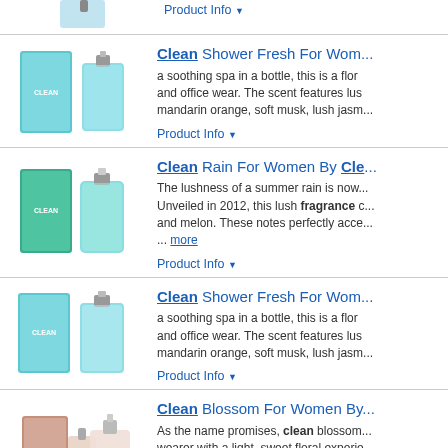[Figure (photo): Partial product image at top of page, cropped perfume bottle]
Product Info ▼
[Figure (photo): Clean Shower Fresh For Women perfume box and bottle in teal/aqua color]
Clean Shower Fresh For Wom... a soothing spa in a bottle, this is a floral scent for casual and office wear. The scent features luscious mandarin orange, soft musk, lush jasm... Product Info ▼
[Figure (photo): Clean Rain For Women perfume box and bottle in teal/green color]
Clean Rain For Women By Cle... The lushness of a summer rain is now in a bottle. Unveiled in 2012, this lush fragrance contains ... and melon. These notes perfectly acce... ... more Product Info ▼
[Figure (photo): Clean Shower Fresh For Women perfume box and bottle in teal/aqua color]
Clean Shower Fresh For Wom... a soothing spa in a bottle, this is a floral scent for casual and office wear. The scent features luscious mandarin orange, soft musk, lush jasm... Product Info ▼
[Figure (photo): Clean Blossom For Women perfume box and bottle in pink/rose color]
Clean Blossom For Women By... As the name promises, clean blossom surrounds the wearer with a light, sweet floral experie... love about the modern perfume experi... tunisian ... more Product Info ▼